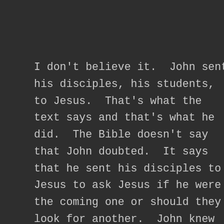[Figure (photo): A broken/loading image placeholder shown as a small landscape thumbnail icon with a border rectangle in the upper right area of the page]
I don't believe it.  John sent his disciples, his students, to Jesus.  That's what the text says and that's what he did.  The Bible doesn't say that John doubted.  It says that he sent his disciples to Jesus to ask Jesus if he were the coming one or should they look for another.  John knew what Jesus would tell them.  That's why he sent them to Jesus.